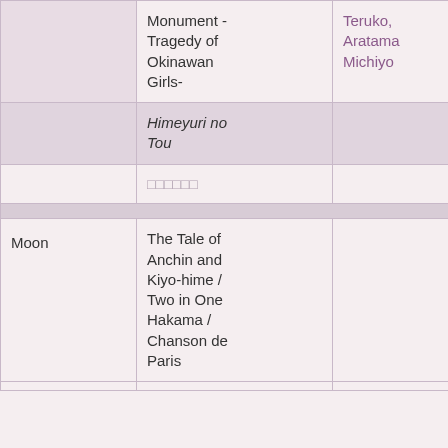|  | Title | Cast | Venue |  |
| --- | --- | --- | --- | --- |
|  | Monument - Tragedy of Okinawan Girls- | Teruko, Aratama Michiyo | Grand Theater |  |
|  | Himeyuri no Tou |  |  |  |
|  | □□□□□□ |  |  |  |
|  |  |  |  |  |
| Moon | The Tale of Anchin and Kiyo-hime / Two in One Hakama / Chanson de Paris |  | National Tour | O-...O- |